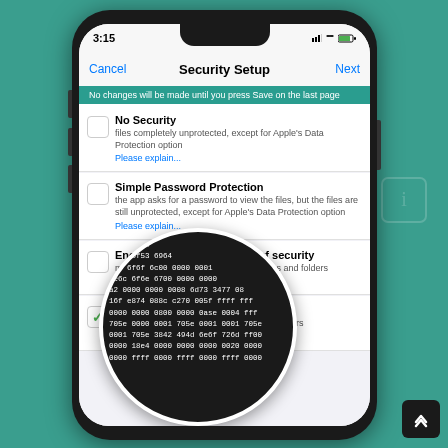[Figure (screenshot): iOS mobile app screenshot showing 'Security Setup' screen with four options: No Security, Simple Password Protection, Encryption moderate level of security, and Encryption total security (checked with green checkmark). A circular callout shows binary/hex encoded data at the bottom. There is also a navigation button at bottom right.]